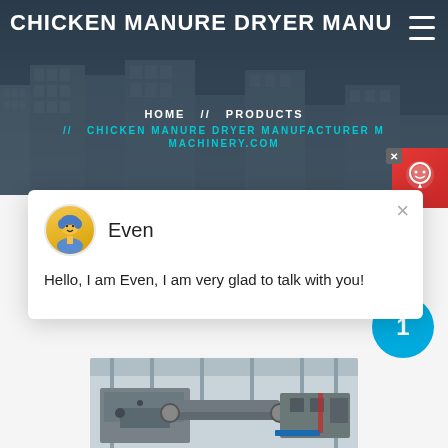CHICKEN MANURE DRYER MANU...
HOME // PRODUCTS // CHICKEN MANURE DRYER MANUFACTURER M... MACHINERY.COM
[Figure (screenshot): Chat popup with avatar of agent named Even saying: Hello, I am Even, I am very glad to talk with you!]
[Figure (photo): Industrial machinery photo showing chicken manure dryer equipment in a factory setting]